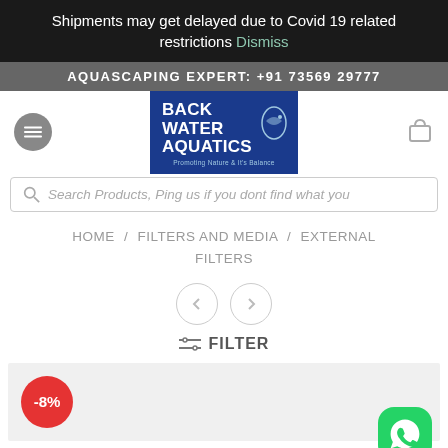Shipments may get delayed due to Covid 19 related restrictions Dismiss
AQUASCAPING EXPERT: +91 73569 29777
[Figure (logo): Back Water Aquatics logo — blue background with white bold text and fish icon, tagline: Promoting Nature & It's Balance]
Search Products, Ping us if you dont find what you
HOME / FILTERS AND MEDIA / EXTERNAL FILTERS
FILTER
-8%